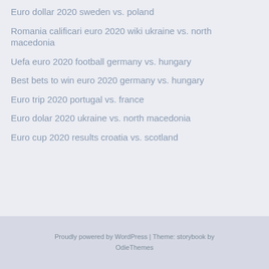Euro dollar 2020 sweden vs. poland
Romania calificari euro 2020 wiki ukraine vs. north macedonia
Uefa euro 2020 football germany vs. hungary
Best bets to win euro 2020 germany vs. hungary
Euro trip 2020 portugal vs. france
Euro dolar 2020 ukraine vs. north macedonia
Euro cup 2020 results croatia vs. scotland
Proudly powered by WordPress | Theme: storybook by OdieThemes